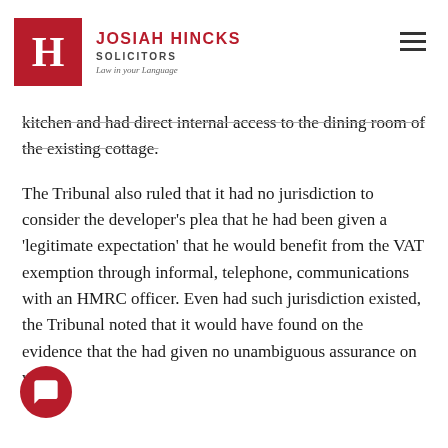JOSIAH HINCKS SOLICITORS — Law in your Language
kitchen and had direct internal access to the dining room of the existing cottage.
The Tribunal also ruled that it had no jurisdiction to consider the developer's plea that he had been given a 'legitimate expectation' that he would benefit from the VAT exemption through informal, telephone, communications with an HMRC officer. Even had such jurisdiction existed, the Tribunal noted that it would have found on the evidence that the [HMRC officer] had given no unambiguous assurance on which the developer would have been entitled to rely.